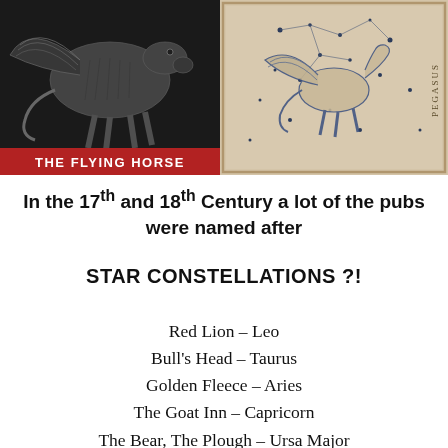[Figure (illustration): Left panel: black and white engraving of a flying horse (Pegasus) with 'THE FLYING HORSE' label on red background. Right panel: vintage star constellation map of Pegasus on beige/cream background.]
In the 17th and 18th Century a lot of the pubs were named after
STAR CONSTELLATIONS ?!
Red Lion – Leo
Bull's Head – Taurus
Golden Fleece – Aries
The Goat Inn – Capricorn
The Bear, The Plough – Ursa Major
The Golden Swan – Cygnus
The Great Dragon – Draco